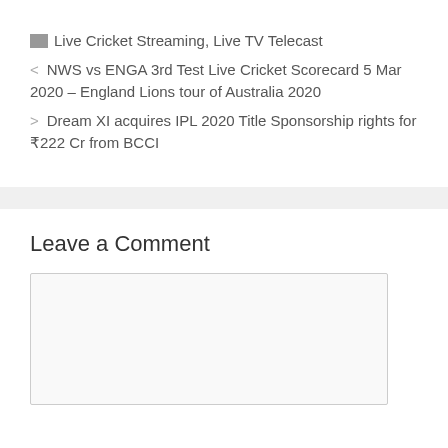📁 Live Cricket Streaming, Live TV Telecast
< NWS vs ENGA 3rd Test Live Cricket Scorecard 5 Mar 2020 – England Lions tour of Australia 2020
> Dream XI acquires IPL 2020 Title Sponsorship rights for ₹222 Cr from BCCI
Leave a Comment